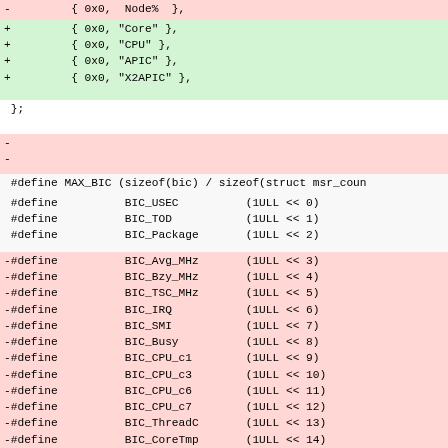- { 0x0, Node% },
+ { 0x0, "Core" },
+ { 0x0, "CPU" },
+ { 0x0, "APIC" },
+ { 0x0, "X2APIC" },
};
-
-
#define MAX_BIC (sizeof(bic) / sizeof(struct msr_coun
#define BIC_USEC (1ULL << 0)
 #define BIC_TOD (1ULL << 1)
 #define BIC_Package (1ULL << 2)
-#define BIC_Avg_MHz (1ULL << 3)
-#define BIC_Bzy_MHz (1ULL << 4)
-#define BIC_TSC_MHz (1ULL << 5)
-#define BIC_IRQ (1ULL << 6)
-#define BIC_SMI (1ULL << 7)
-#define BIC_Busy (1ULL << 8)
-#define BIC_CPU_c1 (1ULL << 9)
-#define BIC_CPU_c3 (1ULL << 10)
-#define BIC_CPU_c6 (1ULL << 11)
-#define BIC_CPU_c7 (1ULL << 12)
-#define BIC_ThreadC (1ULL << 13)
-#define BIC_CoreTmp (1ULL << 14)